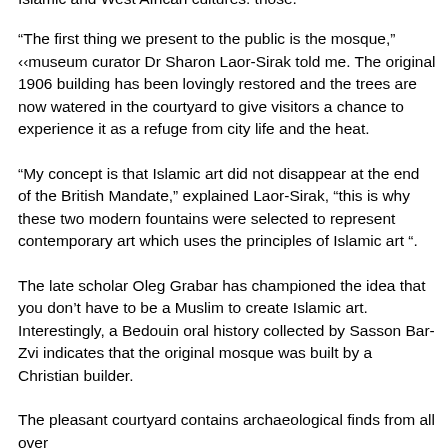Islamic and West African cultures: those.
“The first thing we present to the public is the mosque,” ‹‹museum curator Dr Sharon Laor-Sirak told me. The original 1906 building has been lovingly restored and the trees are now watered in the courtyard to give visitors a chance to experience it as a refuge from city life and the heat.
“My concept is that Islamic art did not disappear at the end of the British Mandate,” explained Laor-Sirak, “this is why these two modern fountains were selected to represent contemporary art which uses the principles of Islamic art “.
The late scholar Oleg Grabar has championed the idea that you don’t have to be a Muslim to create Islamic art. Interestingly, a Bedouin oral history collected by Sasson Bar-Zvi indicates that the original mosque was built by a Christian builder.
The pleasant courtyard contains archaeological finds from all over